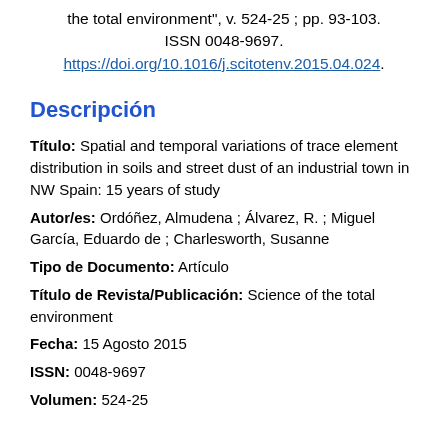the total environment", v. 524-25 ; pp. 93-103. ISSN 0048-9697. https://doi.org/10.1016/j.scitotenv.2015.04.024.
Descripción
Título:  Spatial and temporal variations of trace element distribution in soils and street dust of an industrial town in NW Spain: 15 years of study
Autor/es:  Ordóñez, Almudena ;  Álvarez, R. ;  Miguel García, Eduardo de ;  Charlesworth, Susanne
Tipo de Documento:  Artículo
Título de Revista/Publicación:  Science of the total environment
Fecha:  15 Agosto 2015
ISSN:  0048-9697
Volumen:  524-25